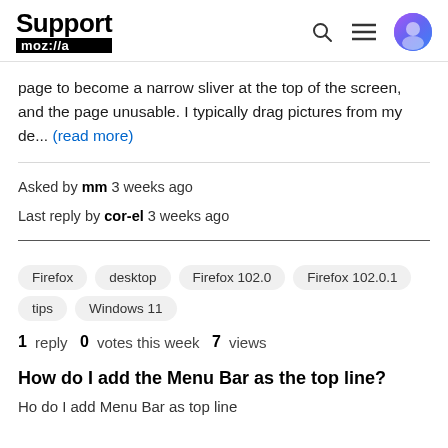Support mozilla//a
page to become a narrow sliver at the top of the screen, and the page unusable. I typically drag pictures from my de... (read more)
Asked by mm 3 weeks ago
Last reply by cor-el 3 weeks ago
Firefox
desktop
Firefox 102.0
Firefox 102.0.1
tips
Windows 11
1 reply  0 votes this week  7 views
How do I add the Menu Bar as the top line?
Ho do I add Menu Bar as top line